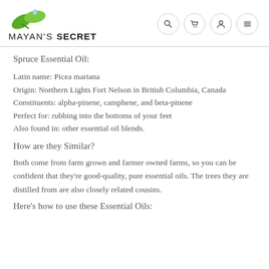[Figure (logo): Mayan's Secret logo with green leaf icon and text]
Spruce Essential Oil:
Latin name: Picea mariana
Origin: Northern Lights Fort Nelson in British Columbia, Canada
Constituents: alpha-pinene, camphene, and beta-pinene
Perfect for: rubbing into the bottoms of your feet
Also found in: other essential oil blends.
How are they Similar?
Both come from farm grown and farmer owned farms, so you can be confident that they're good-quality, pure essential oils. The trees they are distilled from are also closely related cousins.
Here's how to use these Essential Oils: